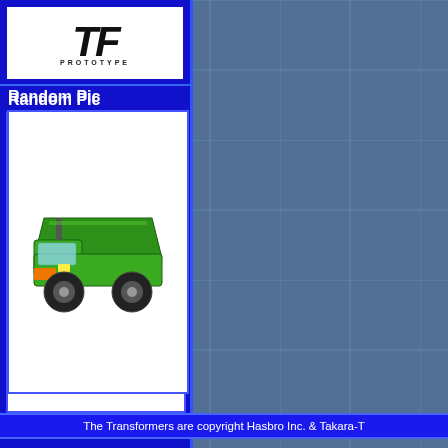[Figure (screenshot): Transformers fan website screenshot with blue sidebar showing TF Prototype logo and a random pic section with a green toy dump truck (Hits: 1163). The main background shows a tiled grid of Autobot and Decepticon face logos on a blue-grey background. A blue copyright bar reads 'The Transformers are copyright Hasbro Inc. & Takara-T...' and a lower section with another tiled background and a black box with partial German text 'Dieses Projekt wurde mit 1&1 H'.]
Random Pic
Hits: 1163
The Transformers are copyright Hasbro Inc. & Takara-T
Dieses Projekt wurde mit 1&1 H